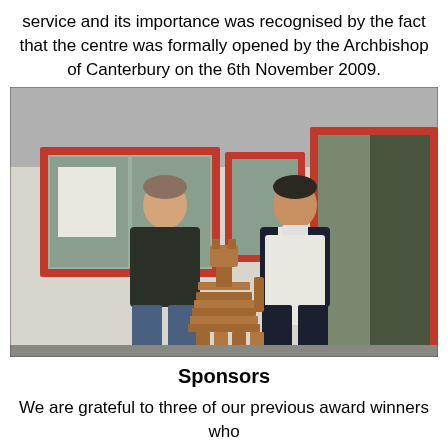service and its importance was recognised by the fact that the centre was formally opened by the Archbishop of Canterbury on the 6th November 2009.
[Figure (photo): Two men standing outside a shop with red window frames. One man in casual clothes on the left, another man wearing a white apron on the right. Between them is a wooden carved horse sculpture on the pavement.]
Sponsors
We are grateful to three of our previous award winners who